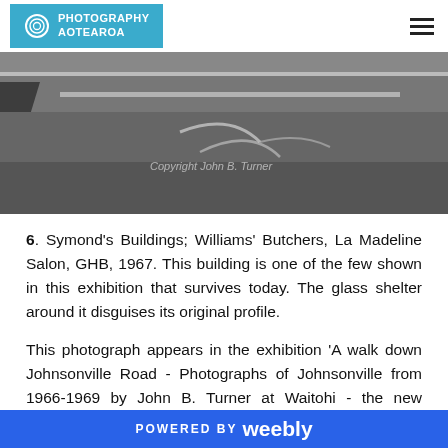Photography Aotearoa
[Figure (photo): Black and white photograph of a road surface showing lane markings and a diagonal line, with 'Copyright John B. Turner' watermark visible]
6. Symond's Buildings; Williams' Butchers, La Madeline Salon, GHB, 1967. This building is one of the few shown in this exhibition that survives today. The glass shelter around it disguises its original profile.
This photograph appears in the exhibition 'A walk down Johnsonville Road - Photographs of Johnsonville from 1966-1969 by John B. Turner at Waitohi - the new Johnsonville Library and Community Hub - running from
POWERED BY weebly